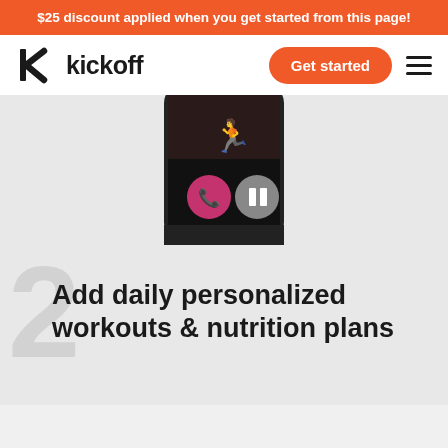$25 discount applied when you get started from this page!
[Figure (logo): Kickoff logo with stylized K icon and wordmark 'kickoff']
Get started
[Figure (photo): Bottom portion of a smartphone showing a black screen with a pink/red end-call button and a gray pause button, set against a light gray background]
2
Add daily personalized workouts & nutrition plans